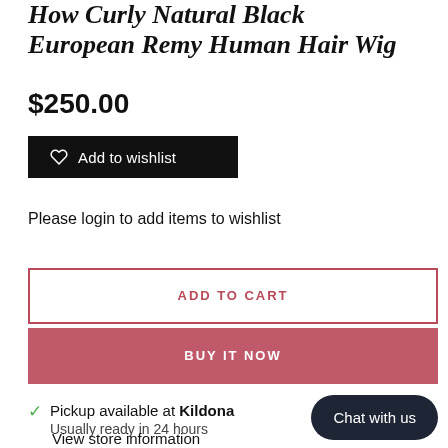European Remy Human Hair Wig
$250.00
Add to wishlist
Please login to add items to wishlist
ADD TO CART
BUY IT NOW
Pickup available at Kildona  Usually ready in 24 hours
Chat with us
View store information